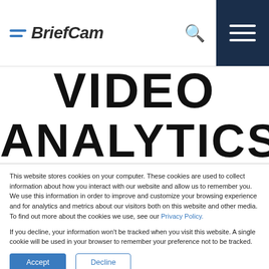[Figure (logo): BriefCam logo with two blue horizontal lines and italic bold text]
VIDEO ANALYTICS
This website stores cookies on your computer. These cookies are used to collect information about how you interact with our website and allow us to remember you. We use this information in order to improve and customize your browsing experience and for analytics and metrics about our visitors both on this website and other media. To find out more about the cookies we use, see our Privacy Policy.
If you decline, your information won't be tracked when you visit this website. A single cookie will be used in your browser to remember your preference not to be tracked.